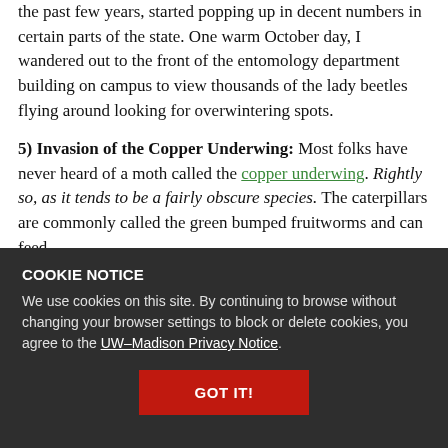the past few years, started popping up in decent numbers in certain parts of the state. One warm October day, I wandered out to the front of the entomology department building on campus to view thousands of the lady beetles flying around looking for overwintering spots.
5) Invasion of the Copper Underwing: Most folks have never heard of a moth called the copper underwing. Rightly so, as it tends to be a fairly obscure species. The caterpillars are commonly called the green bumped fruitworms and can feed on trees. When adults rest on trees, their...
COOKIE NOTICE
We use cookies on this site. By continuing to browse without changing your browser settings to block or delete cookies, you agree to the UW–Madison Privacy Notice.
GOT IT!